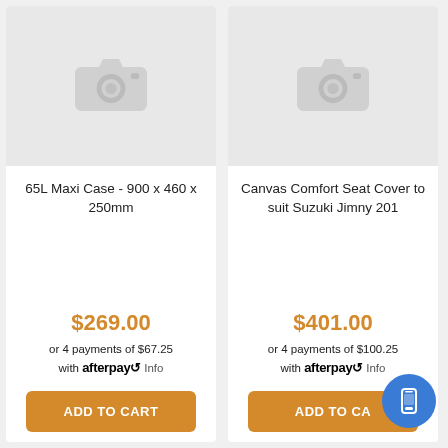[Figure (photo): Product image placeholder with camera icon for 65L Maxi Case]
65L Maxi Case - 900 x 460 x 250mm
$269.00
or 4 payments of $67.25 with afterpay Info
ADD TO CART
[Figure (photo): Product image placeholder with camera icon for Canvas Comfort Seat Cover]
Canvas Comfort Seat Cover to suit Suzuki Jimny 201
$401.00
or 4 payments of $100.25 with afterpay Info
ADD TO CA